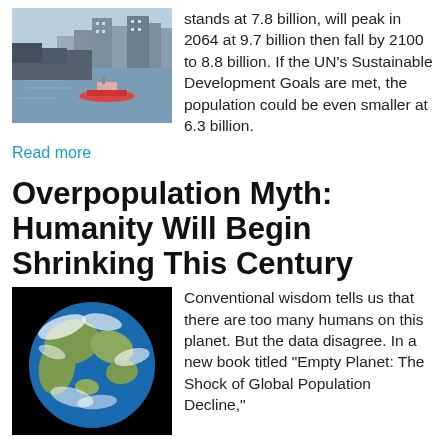[Figure (photo): Aerial/riverside view of a city skyline with buildings and a river, with a boat visible on the water.]
stands at 7.8 billion, will peak in 2064 at 9.7 billion then fall by 2100 to 8.8 billion. If the UN's Sustainable Development Goals are met, the population could be even smaller at 6.3 billion.
Read more
Overpopulation Myth: Humanity Will Begin Shrinking This Century
[Figure (photo): Photo of the Earth from space (the Blue Marble) showing continents, oceans, and cloud cover against a black background.]
Conventional wisdom tells us that there are too many humans on this planet. But the data disagree. In a new book titled "Empty Planet: The Shock of Global Population Decline,"